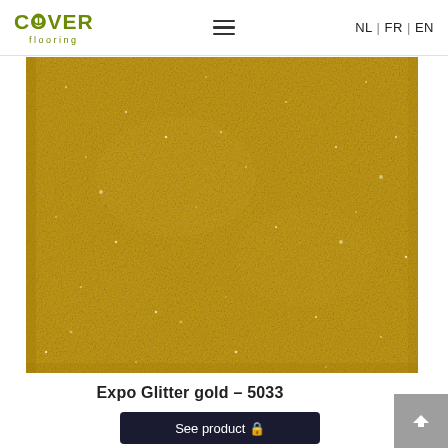COVER flooring | NL | FR | EN
[Figure (photo): Close-up photo of Expo Glitter gold flooring material – product code 5033. The surface appears as a golden/amber textured material with a subtle glitter or sparkle effect throughout, shown as a large rectangular swatch against a light background.]
Expo Glitter gold – 5033
See product